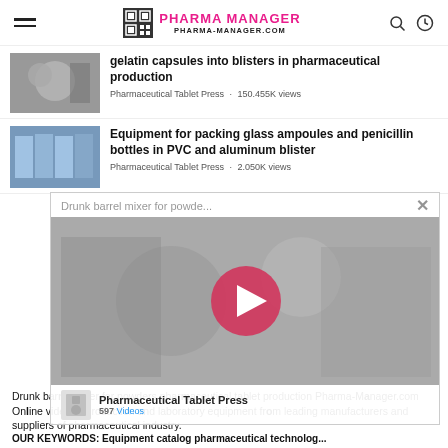PHARMA MANAGER PHARMA-MANAGER.COM
gelatin capsules into blisters in pharmaceutical production
Pharmaceutical Tablet Press · 150.455K views
Equipment for packing glass ampoules and penicillin bottles in PVC and aluminum blister
Pharmaceutical Tablet Press · 2.050K views
[Figure (screenshot): Video popup overlay showing 'Drunk barrel mixer for powde...' title with video thumbnail, play button, and Pharmaceutical Tablet Press channel with 597 Videos]
Drunk barrel mixer for powders pharmaceutical tablet production Pharma-Manager.com Online video of production and laboratory equipment from leading manufacturers and suppliers of pharmaceutical industry.
OUR KEYWORDS: Equipment catalog pharmaceutical technolog...